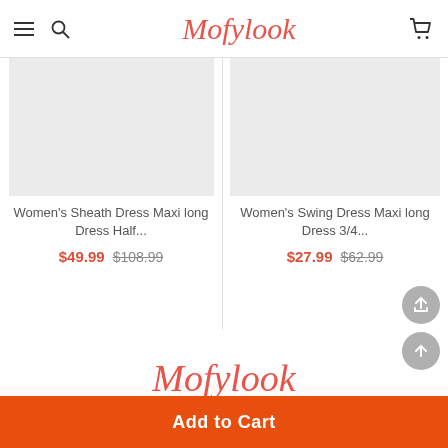Mofylook
[Figure (photo): Product image placeholder for Women's Sheath Dress Maxi long Dress Half...]
Women's Sheath Dress Maxi long Dress Half...
$49.99  $108.99
[Figure (photo): Product image placeholder for Women's Swing Dress Maxi long Dress 3/4...]
Women's Swing Dress Maxi long Dress 3/4...
$27.99  $62.99
[Figure (logo): Mofylook brand logo in red italic script]
Best Deals For Women's Trendy Fashion Style Online Shopping.
Find latest women's clothing, dresses, tops, shoes, and other
Add to Cart